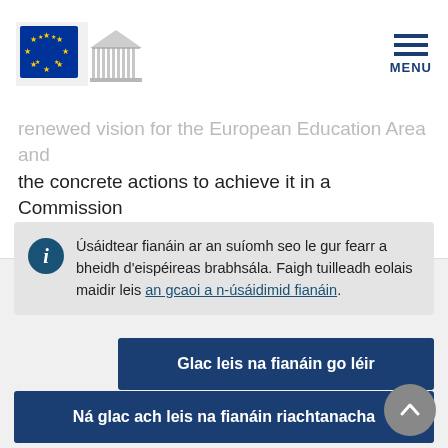[Figure (logo): European Commission logo with EU flag stars and building silhouette]
MENU
renewed vision for the European Education Area and the concrete actions to achieve it in a Commission Communication.
Úsáidtear fianáin ar an suíomh seo le gur fearr a bheidh d'eispéireas brabhsála. Faigh tuilleadh eolais maidir leis an gcaoi a n-úsáidimid fianáin.
Glac leis na fianáin go léir
Ná glac ach leis na fianáin riachtanacha